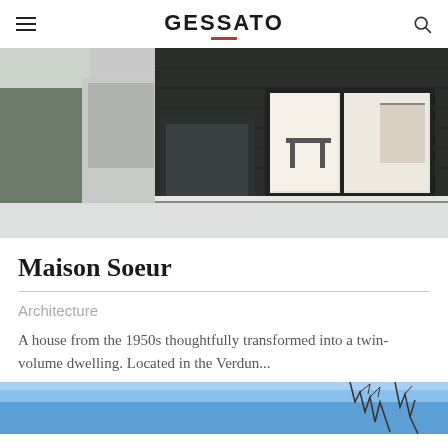GESSATO
[Figure (photo): Exterior photo of Maison Soeur in winter — dark brick facade with large glass sliding doors revealing a bright modern kitchen/dining interior, snow on the ground, bare trees on the left]
Maison Soeur
Architecture
A house from the 1950s thoughtfully transformed into a twin-volume dwelling. Located in the Verdun...
[Figure (photo): Bottom portion of another photo — bright blue sky with bare tree branches visible]